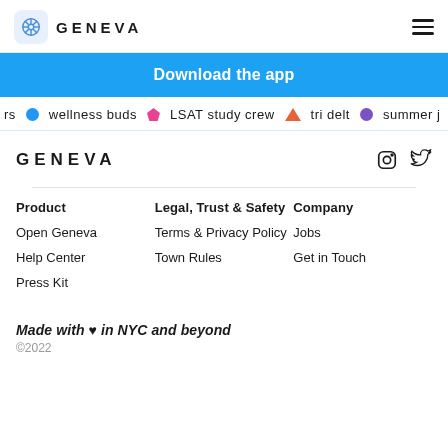GENEVA
Download the app
rs  wellness buds  LSAT study crew  tri delt  summer j
GENEVA
Product
Legal, Trust & Safety
Company
Open Geneva
Terms & Privacy Policy
Jobs
Help Center
Town Rules
Get in Touch
Press Kit
Made with ♥ in NYC and beyond
©2022